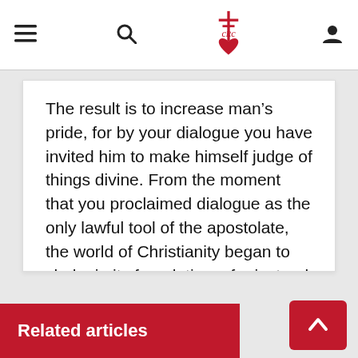CRC navigation header with menu, search, logo, and user icons
The result is to increase man’s pride, for by your dialogue you have invited him to make himself judge of things divine. From the moment that you proclaimed dialogue as the only lawful tool of the apostolate, the world of Christianity began to shake in its foundations: for instead of God being the acknowledged Judge of man, it is now man who is called upon to judge God. And so your heteropraxy leads on to the heterodoxy of the Cult of Man.
Related articles